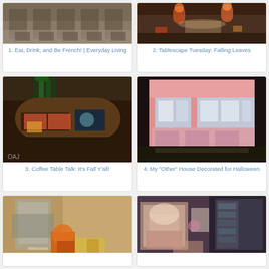[Figure (photo): Interior of a restaurant with chairs and tables on a tiled floor]
1. Eat, Drink, and Be French! | Everyday Living
[Figure (photo): Tablescape with candles and autumn leaves on a dining table]
2. Tablescape Tuesday: Falling Leaves
[Figure (photo): Coffee table with books, a candle, decorative items, and a pineapple plant on a leopard print rug]
3. Coffee Table Talk: It's Fall Y'all!
[Figure (photo): Pink Victorian dollhouse decorated for Halloween with small figurines]
4. My "Other" House Decorated for Halloween
[Figure (photo): Welcome wreath with burlap ribbon and a pumpkin on a wooden door]
[Figure (photo): Cozy room corner with a chair, doll, flowers, and bookshelves]